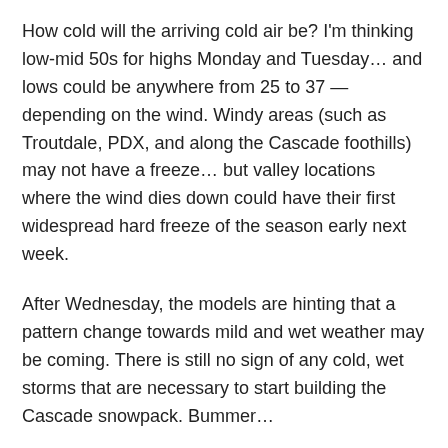How cold will the arriving cold air be?  I'm thinking low-mid 50s for highs Monday and Tuesday… and lows could be anywhere from 25 to 37 — depending on the wind.  Windy areas (such as Troutdale, PDX, and along the Cascade foothills) may not have a freeze… but valley locations where the wind dies down could have their first widespread hard freeze of the season early next week.
After Wednesday, the models are hinting that a pattern change towards mild and wet weather may be coming. There is still no sign of any cold, wet storms that are necessary to start building the Cascade snowpack. Bummer…
Enjoy the weekend… especially Saturday's sunshine!
– Drew J